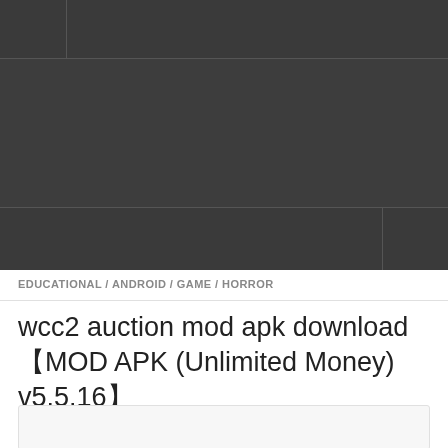[Figure (screenshot): Dark navigation bar with left panel, center area, and right panel separated by borders]
[Figure (screenshot): Dark banner/advertisement area filling the middle section]
[Figure (screenshot): Dark bottom bar with main area and right panel separated by a border]
EDUCATIONAL / ANDROID / GAME / HORROR
wcc2 auction mod apk download【MOD APK (Unlimited Money) v5.5.16】
[Figure (other): White/light grey content box at the bottom, partially visible]